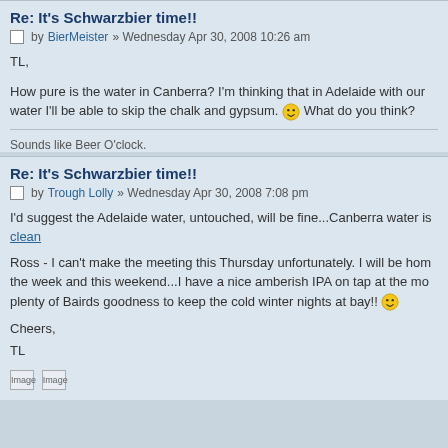Re: It's Schwarzbier time!!
by BierMeister » Wednesday Apr 30, 2008 10:26 am
TL,

How pure is the water in Canberra? I'm thinking that in Adelaide with our water I'll be able to skip the chalk and gypsum. 🙂 What do you think?
Sounds like Beer O'clock.
Re: It's Schwarzbier time!!
by Trough Lolly » Wednesday Apr 30, 2008 7:08 pm
I'd suggest the Adelaide water, untouched, will be fine...Canberra water is clean
Ross - I can't make the meeting this Thursday unfortunately. I will be home the week and this weekend...I have a nice amberish IPA on tap at the mo plenty of Bairds goodness to keep the cold winter nights at bay!! 🙂

Cheers,
TL
[Figure (other): Two image placeholders at the bottom of the post]